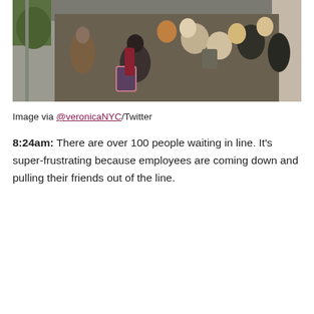[Figure (photo): Overhead/bird's-eye view photo of a crowd of people waiting in line on a city sidewalk, taken from above. People are seen from behind mostly, with bags and backpacks visible. Buildings and street visible.]
Image via @veronicaNYC/Twitter
8:24am: There are over 100 people waiting in line. It's super-frustrating because employees are coming down and pulling their friends out of the line.